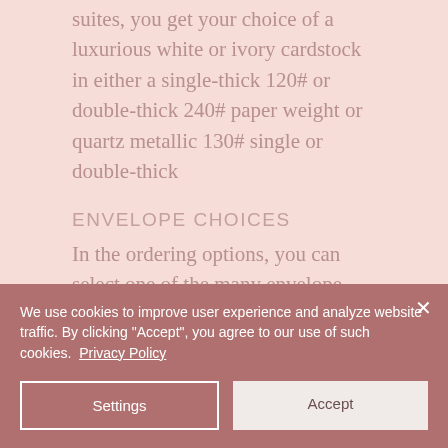suites, you get your choice of a luxurious white or ivory cardstock in either a single-thick 120# or double-thick 240# paper weight or quartz metallic 130# single or double-thick
ENVELOPE CHOICES
In the ordering options, you can select one of the many envelope colors to compliment your suite.
We use cookies to improve user experience and analyze website traffic. By clicking "Accept", you agree to our use of such cookies. Privacy Policy